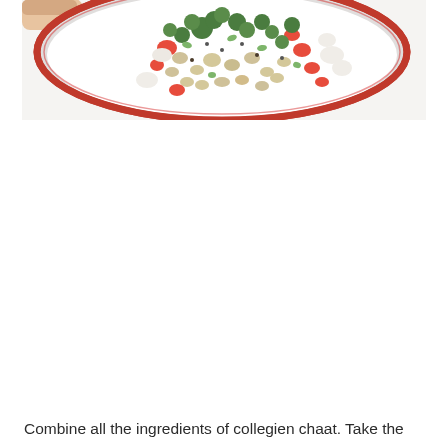[Figure (photo): Overhead view of a white bowl with red rim held by a hand, containing a colorful salad with chickpeas/legumes, chopped tomatoes, broccoli, onion, and other vegetables — likely a chaat dish.]
Combine all the ingredients of collegien chaat. Take the